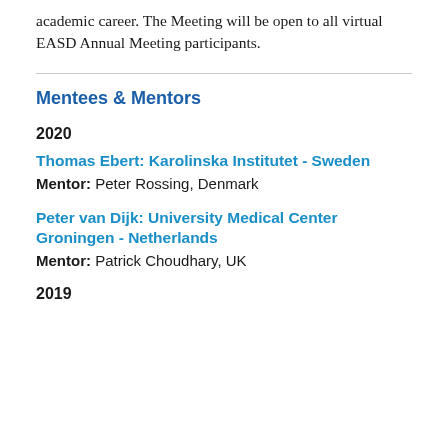academic career. The Meeting will be open to all virtual EASD Annual Meeting participants.
Mentees & Mentors
2020
Thomas Ebert: Karolinska Institutet - Sweden
Mentor: Peter Rossing, Denmark
Peter van Dijk: University Medical Center Groningen - Netherlands
Mentor: Patrick Choudhary, UK
2019